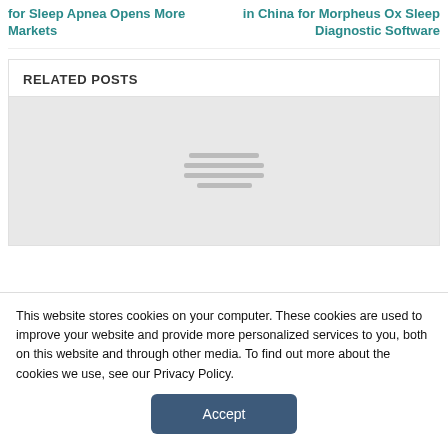for Sleep Apnea Opens More Markets
in China for Morpheus Ox Sleep Diagnostic Software
RELATED POSTS
[Figure (illustration): Gray placeholder image with horizontal lines in the center representing a loading or placeholder image for a related post thumbnail]
This website stores cookies on your computer. These cookies are used to improve your website and provide more personalized services to you, both on this website and through other media. To find out more about the cookies we use, see our Privacy Policy.
Accept